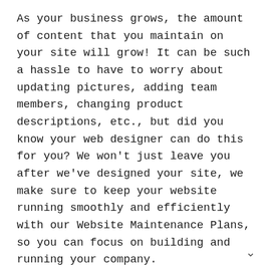As your business grows, the amount of content that you maintain on your site will grow! It can be such a hassle to have to worry about updating pictures, adding team members, changing product descriptions, etc., but did you know your web designer can do this for you? We won't just leave you after we've designed your site, we make sure to keep your website running smoothly and efficiently with our Website Maintenance Plans, so you can focus on building and running your company.
But it doesn't stop there, you can also benefit from having someone curate personalized blog content for you, keep your plugins updated, update your website regularly with fresh content, and even optimize the SEO on your site so search engines have the best chance of finding you!